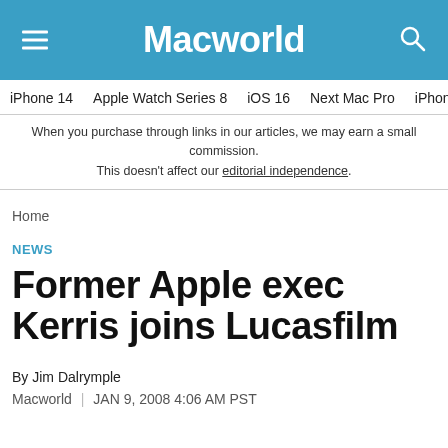Macworld
iPhone 14 | Apple Watch Series 8 | iOS 16 | Next Mac Pro | iPhone d
When you purchase through links in our articles, we may earn a small commission. This doesn't affect our editorial independence.
Home
NEWS
Former Apple exec Kerris joins Lucasfilm
By Jim Dalrymple
Macworld | JAN 9, 2008 4:06 AM PST